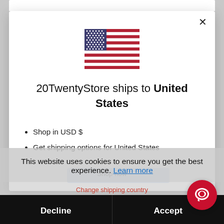[Figure (screenshot): Modal dialog showing US flag with shipping destination info for 20TwentyStore, with cookie consent banner overlay and chat button]
20TwentyStore ships to United States
Shop in USD $
Get shipping options for United States
This website uses cookies to ensure you get the best experience. Learn more
Decline
Accept
Change shipping country
OneUp Components